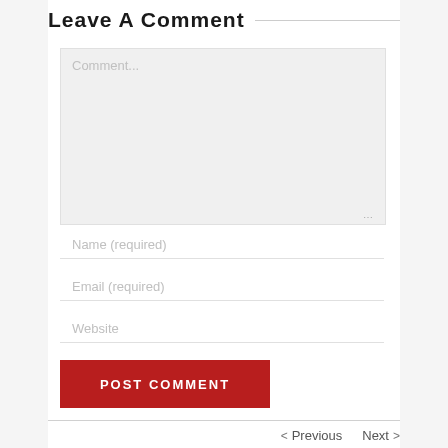Leave A Comment
Comment...
Name (required)
Email (required)
Website
POST COMMENT
< Previous   Next >